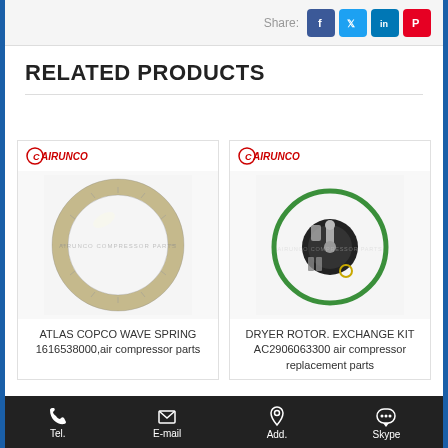Share:
RELATED PRODUCTS
[Figure (photo): AIRUNCO branded wave spring ring, metallic, circular shape on white background with watermark 'AIRUNCO COMPRESSOR PARTS']
ATLAS COPCO WAVE SPRING 1616538000,air compressor parts
[Figure (photo): AIRUNCO branded dryer rotor exchange kit with green O-ring, black disc, small springs and hardware on white background with watermark 'AIRUNCO COMPRESSOR PARTS']
DRYER ROTOR. EXCHANGE KIT AC2906063300 air compressor replacement parts
Tel.    E-mail    Add.    Skype